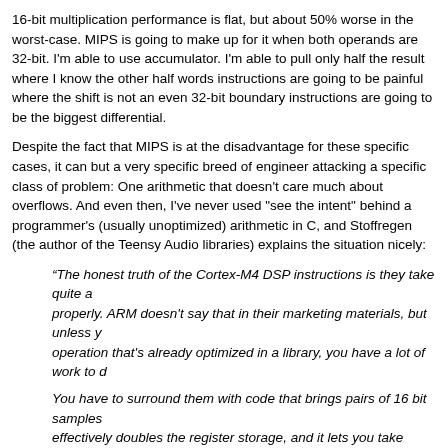16-bit multiplication performance is flat, but about 50% worse in the worst-case. MIPS is going to make up for it when both operands are 32-bit. I'm able to use accumulator. I'm able to pull only half the result where I know the other half wo... instructions are going to be painful where the shift is not an even 32-bit bounda... instructions are going to be the biggest differential.
Despite the fact that MIPS is at the disadvantage for these specific cases, it ca... but a very specific breed of engineer attacking a specific class of problem: One... arithmetic that doesn't care much about overflows. And even then, I've never u... "see the intent" behind a programmer's (usually unoptimized) arithmetic in C, a... Stoffregen (the author of the Teensy Audio libraries) explains the situation nicel...
“The honest truth of the Cortex-M4 DSP instructions is they take quite a... properly. ARM doesn't say that in their marketing materials, but unless y... operation that's already optimized in a library, you have a lot of work to d...
You have to surround them with code that brings pairs of 16 bit samples... effectively doubles the register storage, and it lets you take advantage o... store of successive 32 bit words, and reduced looping overhead. Some... convenient too, like multiplying 16 * 32 bits for a 48 bit result, and then d... consumes only a single 32 bit register for the output.
Optimizing code with these instructions is all about planning how many a... output and other stuff. It's very low-level stuff requiring quite a lot of thin... cycles. You can get quite a bit of speedup this way, but it's not simple or...